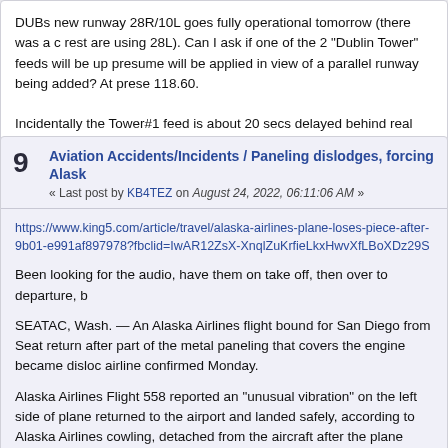DUBs new runway 28R/10L goes fully operational tomorrow (there was a c rest are using 28L). Can I ask if one of the 2 "Dublin Tower" feeds will be up presume will be applied in view of a parallel runway being added? At prese 118.60.

Incidentally the Tower#1 feed is about 20 secs delayed behind real time wh
9  Aviation Accidents/Incidents / Paneling dislodges, forcing Alask
« Last post by KB4TEZ on August 24, 2022, 06:11:06 AM »
https://www.king5.com/article/travel/alaska-airlines-plane-loses-piece-after-9b01-e991af897978?fbclid=IwAR12ZsX-XnqlZuKrfieLkxHwvXfLBoXDz29S
Been looking for the audio, have them on take off, then over to departure, b
SEATAC, Wash. — An Alaska Airlines flight bound for San Diego from Seat return after part of the metal paneling that covers the engine became disloc airline confirmed Monday.
Alaska Airlines Flight 558 reported an "unusual vibration" on the left side of plane returned to the airport and landed safely, according to Alaska Airlines cowling, detached from the aircraft after the plane touched back down at Se
The aircraft, a Boeing 737-900ER, has been taken out of service while the a